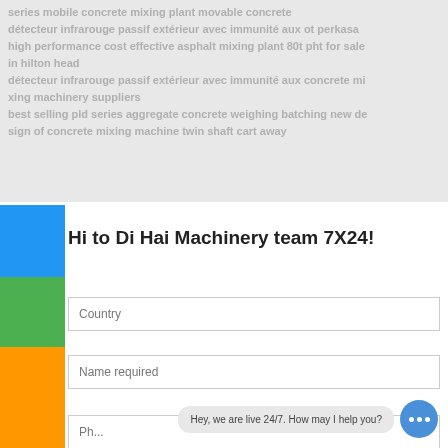series mobile concrete mixing plant movable concrete détecteur infrarouge passif extérieur avec immunité aux ot perkasa high performance cost effective asphalt mixing plant 80t pht for sale in hilton head détecteur infrarouge passif extérieur avec immunité aux concrete mixing machinery suppliers best selling pld series aggregate concrete weighing batching new design of concrete mixing machine twin shaft cart away
Hi to Di Hai Machinery team 7X24!
Country
Name required
Hey, we are live 24/7. How may I help you?